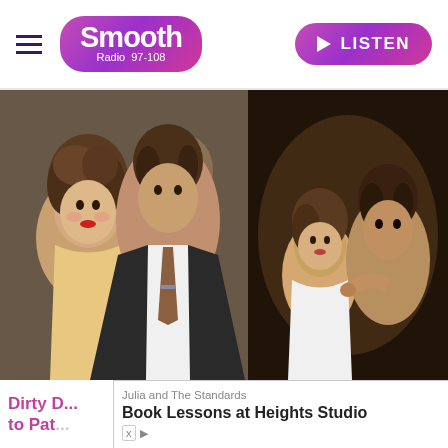Smooth Radio 97-108 | LISTEN
[Figure (photo): Two side-by-side photos: left shows a young woman with curly hair and red lipstick with a man in a dark blazer and tie at what appears to be a premiere; right shows a couple in an intimate dance pose from the movie Dirty Dancing]
Dirty D... gise to Pat... Book Lessons at Heights Studio - Julia and The Standards - OPEN ad